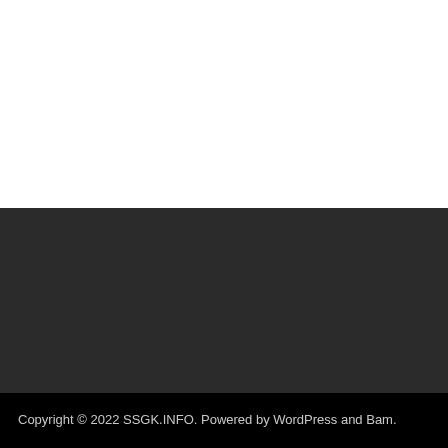Copyright © 2022 SSGK.INFO. Powered by WordPress and Bam.